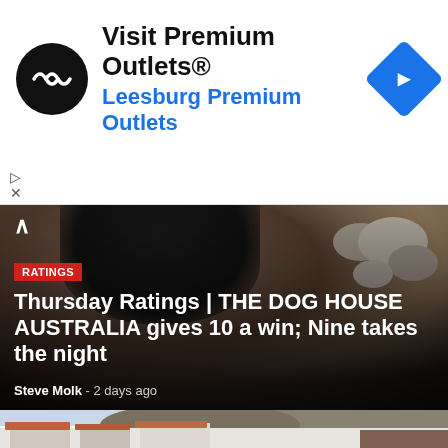[Figure (other): Advertisement banner: Visit Premium Outlets® with logo icon (black circle with double arrow), blue navigation diamond icon, text 'Visit Premium Outlets®' and 'Leesburg Premium Outlets' in blue. Small play and close icons at bottom left.]
[Figure (photo): News article thumbnail photo showing a dog near water with stones/rocks in the background, dark tones.]
RATINGS
Thursday Ratings | THE DOG HOUSE AUSTRALIA gives 10 a win; Nine takes the night
Steve Molk  -  2 days ago
[Figure (photo): Photo of a Mediterranean-style town with white buildings, terracotta rooftops, rocky hillside in background, and a crowd of people visible on the right side of the street.]